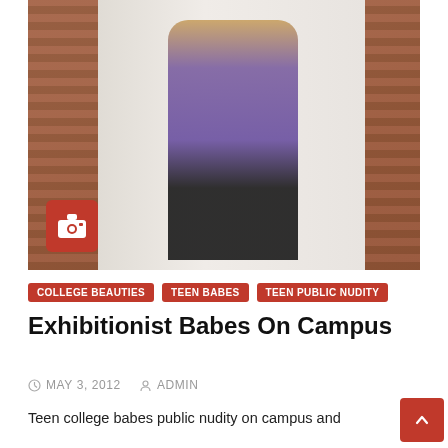[Figure (photo): Young woman standing outdoors near a brick building doorway, wearing a purple top and black skirt]
COLLEGE BEAUTIES  TEEN BABES  TEEN PUBLIC NUDITY
Exhibitionist Babes On Campus
MAY 3, 2012  ADMIN
Teen college babes public nudity on campus and